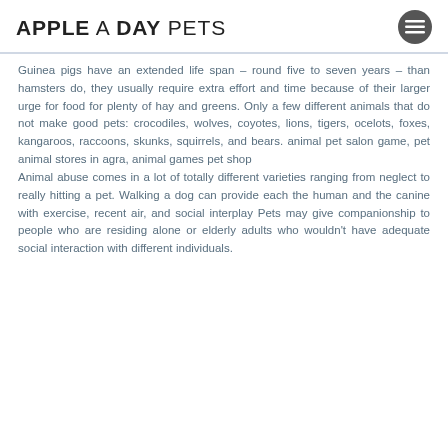APPLE A DAY PETS
Guinea pigs have an extended life span – round five to seven years – than hamsters do, they usually require extra effort and time because of their larger urge for food for plenty of hay and greens. Only a few different animals that do not make good pets: crocodiles, wolves, coyotes, lions, tigers, ocelots, foxes, kangaroos, raccoons, skunks, squirrels, and bears. animal pet salon game, pet animal stores in agra, animal games pet shop
Animal abuse comes in a lot of totally different varieties ranging from neglect to really hitting a pet. Walking a dog can provide each the human and the canine with exercise, recent air, and social interplay Pets may give companionship to people who are residing alone or elderly adults who wouldn't have adequate social interaction with different individuals.